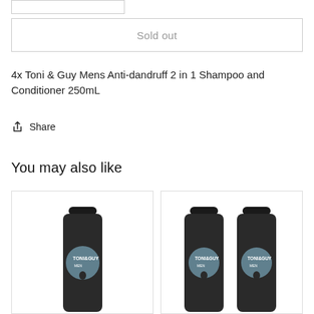Sold out
4x Toni & Guy Mens Anti-dandruff 2 in 1 Shampoo and Conditioner 250mL
Share
You may also like
[Figure (photo): Single dark Toni & Guy shampoo bottle product card]
[Figure (photo): Two dark Toni & Guy shampoo bottles product card]